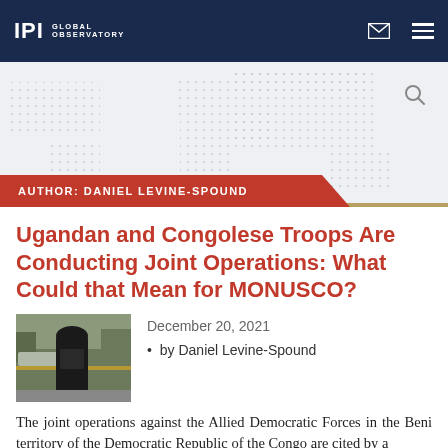IPI GLOBAL OBSERVATORY
[Figure (illustration): World map dot grid background in light gray on white/light blue background, with search icon top right]
AUTHOR: DANIEL LEVINE-SPOUND
Ugandan and Congolese Troops Are Conducting Joint Operations: What Could that Mean for MONUSCO?
[Figure (photo): Photo of a military/police officer in black gear and helmet standing in a street near police tape and vehicles]
December 20, 2021
by Daniel Levine-Spound
The joint operations against the Allied Democratic Forces in the Beni territory of the Democratic Republic of the Congo are cited by a...